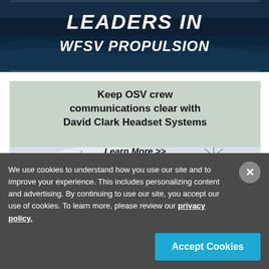[Figure (illustration): Top advertisement banner: dark navy background with ocean waves and text 'LEADERS IN WFSV PROPULSION' in large bold italic white letters]
[Figure (illustration): David Clark advertisement on light sage/grey background showing wind turbines and a vessel. Text reads 'Keep OSV crew communications clear with David Clark Headset Systems', 'Learn More >>', and David Clark logo.]
We use cookies to understand how you use our site and to improve your experience. This includes personalizing content and advertising. By continuing to use our site, you accept our use of cookies. To learn more, please review our privacy policy.